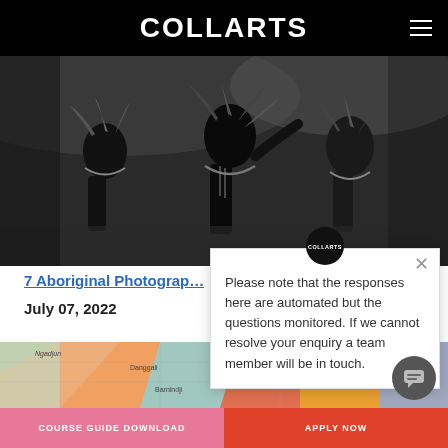COLLARTS
[Figure (photo): Black and white photo of Aboriginal dancers in traditional costume with feathers and body paint]
7 Aboriginal Photograp…
July 07, 2022
[Figure (map): Colorful map showing Aboriginal language regions including Ngadjun, Danggali, Barnindji, Ikarindji, and Gunwinga]
Please note that the responses here are automated but the questions monitored. If we cannot resolve your enquiry a team member will be in touch.
COURSE GUIDE DOWNLOAD
APPLY NOW